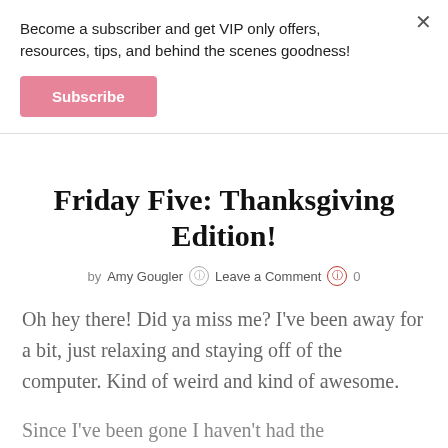Become a subscriber and get VIP only offers, resources, tips, and behind the scenes goodness!
Subscribe
Friday Five: Thanksgiving Edition!
by Amy Gougler  Leave a Comment  0
Oh hey there! Did ya miss me? I've been away for a bit, just relaxing and staying off of the computer. Kind of weird and kind of awesome.
Since I've been gone I haven't had the